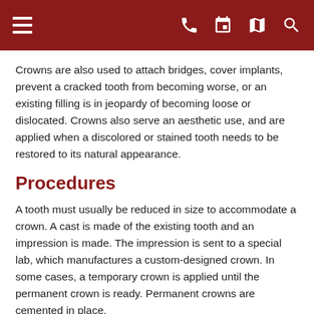Navigation header with menu, phone, calendar, map, and search icons
Crowns are also used to attach bridges, cover implants, prevent a cracked tooth from becoming worse, or an existing filling is in jeopardy of becoming loose or dislocated. Crowns also serve an aesthetic use, and are applied when a discolored or stained tooth needs to be restored to its natural appearance.
Procedures
A tooth must usually be reduced in size to accommodate a crown. A cast is made of the existing tooth and an impression is made. The impression is sent to a special lab, which manufactures a custom-designed crown. In some cases, a temporary crown is applied until the permanent crown is ready. Permanent crowns are cemented in place.
Crowns are sometimes confused with veneers, but they are quite different. Veneers are typically applied only to relatively small areas.